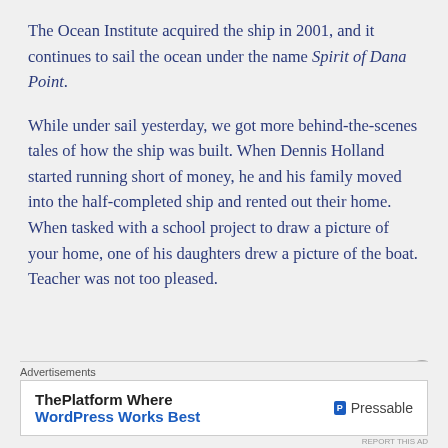The Ocean Institute acquired the ship in 2001, and it continues to sail the ocean under the name Spirit of Dana Point.
While under sail yesterday, we got more behind-the-scenes tales of how the ship was built. When Dennis Holland started running short of money, he and his family moved into the half-completed ship and rented out their home. When tasked with a school project to draw a picture of your home, one of his daughters drew a picture of the boat. Teacher was not too pleased.
Advertisements
[Figure (other): Advertisement banner: ThePlatform Where WordPress Works Best — Pressable]